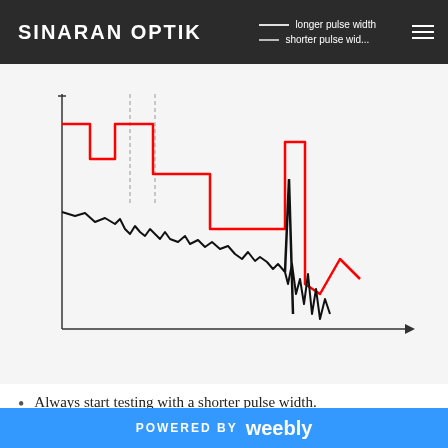SINARAN OPTIK
[Figure (continuous-plot): OTDR waveform plot showing two traces: a red stepped waveform (longer pulse width) starting high, stepping down in stages with a sharp spike and drop near the end; and a black waveform (shorter pulse width) starting lower, gradually declining with oscillating noise and a sharp spike near the end. X-axis has an arrow pointing right. No axis labels or gridlines. The chart illustrates the effect of pulse width on OTDR measurements.]
Always start testing with a shorter pulse width.
The shorter pulse width is useful for locating any faults that may otherwise be
POWERED BY weebly